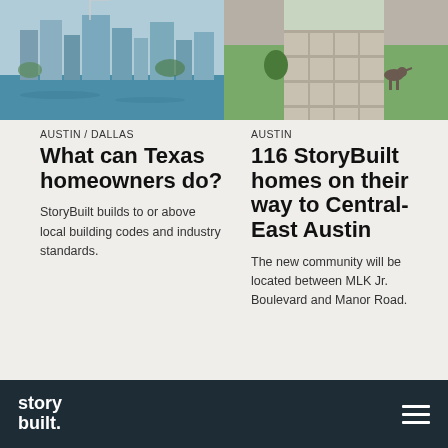[Figure (photo): Aerial/waterfront view of Austin or Dallas city skyline with green water in foreground]
[Figure (photo): Outdoor garden/courtyard area with grass, pavers, and a dog walking]
AUSTIN / DALLAS
What can Texas homeowners do?
StoryBuilt builds to or above local building codes and industry standards.
AUSTIN
116 StoryBuilt homes on their way to Central-East Austin
The new community will be located between MLK Jr. Boulevard and Manor Road.
story built.